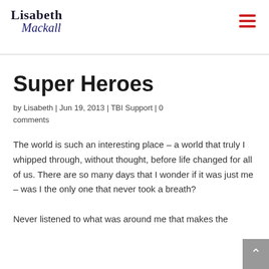Lisabeth Mackall
Super Heroes
by Lisabeth | Jun 19, 2013 | TBI Support | 0 comments
The world is such an interesting place – a world that truly I whipped through, without thought, before life changed for all of us. There are so many days that I wonder if it was just me – was I the only one that never took a breath?
Never listened to what was around me that makes the world...